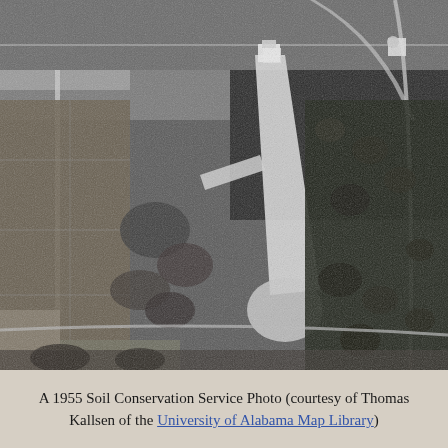[Figure (photo): A black and white 1955 aerial photograph showing fields, roads, and forested areas. A prominent light-colored diagonal path or runway-like feature cuts across the center of the image. Roads and field boundaries are visible, with dense tree cover on the right side.]
A 1955 Soil Conservation Service Photo (courtesy of Thomas Kallsen of the University of Alabama Map Library)